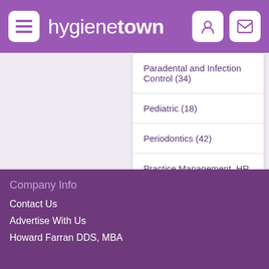hygienetown
Paradental and Infection Control (34)
Pediatric (18)
Periodontics (42)
Practice Management, HR and Accounting (358)
Public Health (75)
Sponsors
Company Info
Contact Us
Advertise With Us
Howard Farran DDS, MBA